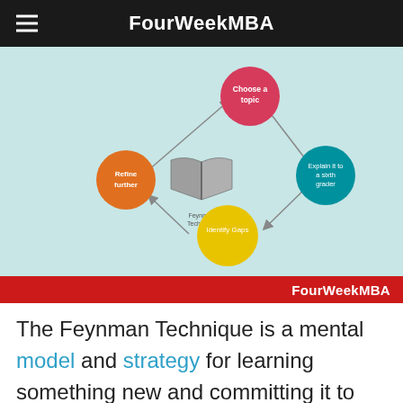FourWeekMBA
[Figure (flowchart): Feynman Technique cycle diagram with four colored circles: 'Choose a topic' (red, top), 'Explain it to a sixth grader' (teal, right), 'Identify Gaps' (yellow, bottom), 'Refine further' (orange, left), connected by arrows in a diamond pattern, with an open book icon in the center labeled 'Feynman Technique']
FourWeekMBA
The Feynman Technique is a mental model and strategy for learning something new and committing it to memory. It is often